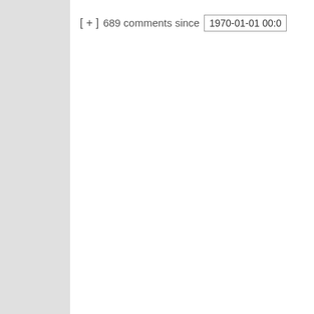[ + ]  689 comments since  1970-01-01 00:0
an outlier and the are people out the want to be touche will wilt like a flow hasn't been wate without it.
But I do still feel it bad as “I have no and I think the po popular culture ar about it are doing harm than good, persuading peopl they are going to die if nobody hug you’ve been pers that Science Pro